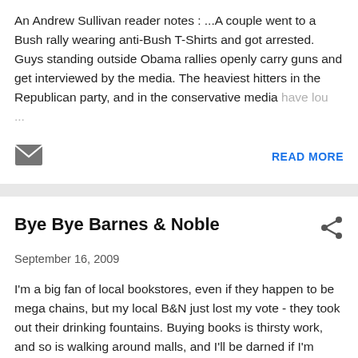An Andrew Sullivan reader notes : ...A couple went to a Bush rally wearing anti-Bush T-Shirts and got arrested. Guys standing outside Obama rallies openly carry guns and get interviewed by the media. The heaviest hitters in the Republican party, and in the conservative media have lou ...
READ MORE
Bye Bye Barnes & Noble
September 16, 2009
I'm a big fan of local bookstores, even if they happen to be mega chains, but my local B&N just lost my vote - they took out their drinking fountains. Buying books is thirsty work, and so is walking around malls, and I'll be darned if I'm